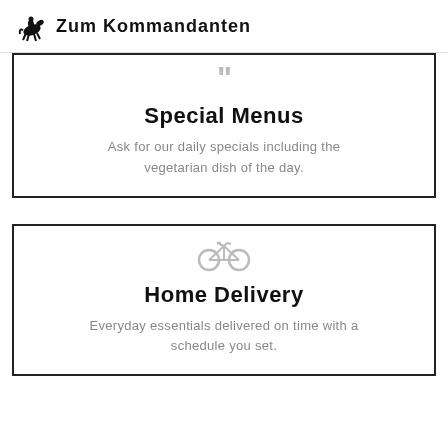Zum Kommandanten
Special Menus
Ask for our daily specials including the vegetarian dish of the day.
Home Delivery
Everyday essentials delivered on time with a schedule you set.